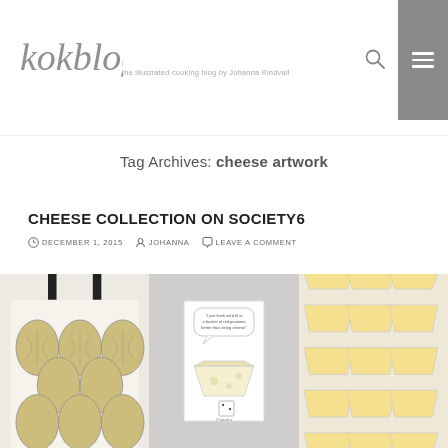kokblog — the illustrated cooking blog by Johanna Kindvall
Tag Archives: cheese artwork
CHEESE COLLECTION ON SOCIETY6
DECEMBER 1, 2015   JOHANNA   LEAVE A COMMENT
[Figure (photo): Three product images: a tote bag with illustrated melon/cheese pattern in olive/yellow, a greeting card with a cheese illustration and speech bubble, and a throw pillow with illustrated cheese wedge pattern in golden yellow]